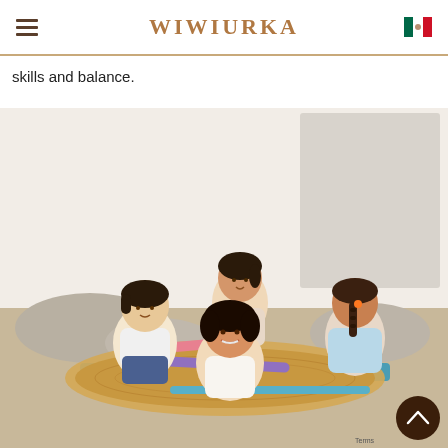WIWIURKA
skills and balance.
[Figure (photo): Four young children sitting and playing on a large wooden balance rocker toy in a bright room with pillows on the floor. The rocker has colorful foam pool noodles (pink, purple, blue) across it and a blue foam mat underneath.]